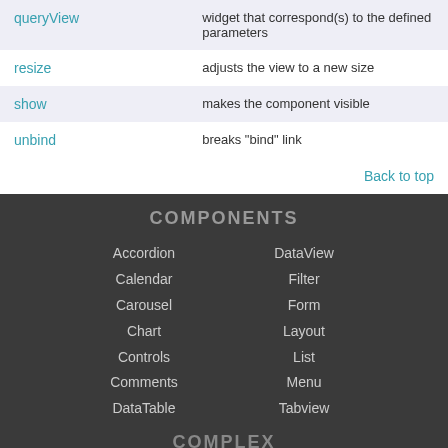| Method | Description |
| --- | --- |
| queryView | widget that correspond(s) to the defined parameters |
| resize | adjusts the view to a new size |
| show | makes the component visible |
| unbind | breaks "bind" link |
Back to top
COMPONENTS
Accordion
Calendar
Carousel
Chart
Controls
Comments
DataTable
DataView
Filter
Form
Layout
List
Menu
Tabview
COMPLEX